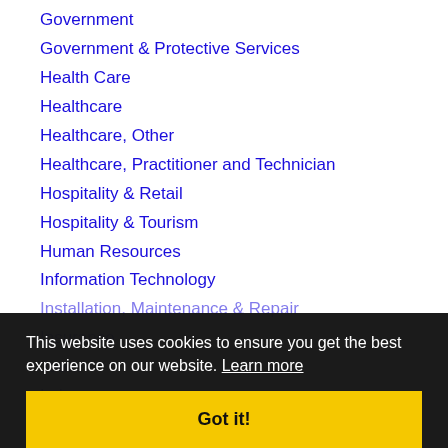Government
Government & Protective Services
Health Care
Healthcare
Healthcare, Other
Healthcare, Practitioner and Technician
Hospitality & Retail
Hospitality & Tourism
Human Resources
Information Technology
Installation, Maintenance & Repair
Insurance
Jou...
Labor
Labor & Trades
Law Enforcement
Legal
Library & Museum
Logistics, Transportation & Drivers
This website uses cookies to ensure you get the best experience on our website. Learn more  Got it!